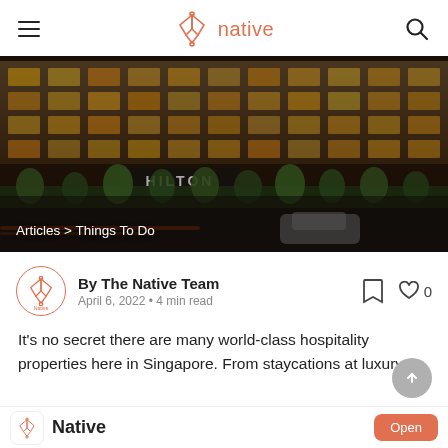native (logo, hamburger menu, search)
[Figure (photo): Exterior night view of a luxury hotel building (Hilton) with illuminated facade, palm trees, and a car driving by. Breadcrumb overlay: Articles > Things To Do]
Articles > Things To Do
By The Native Team
April 6, 2022 • 4 min read
It's no secret there are many world-class hospitality properties here in Singapore. From staycations at luxury